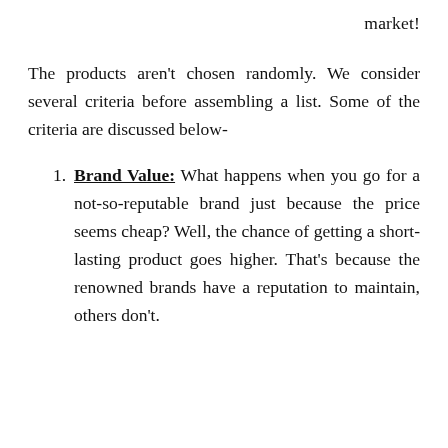market!
The products aren't chosen randomly. We consider several criteria before assembling a list. Some of the criteria are discussed below-
Brand Value: What happens when you go for a not-so-reputable brand just because the price seems cheap? Well, the chance of getting a short-lasting product goes higher. That's because the renowned brands have a reputation to maintain, others don't.